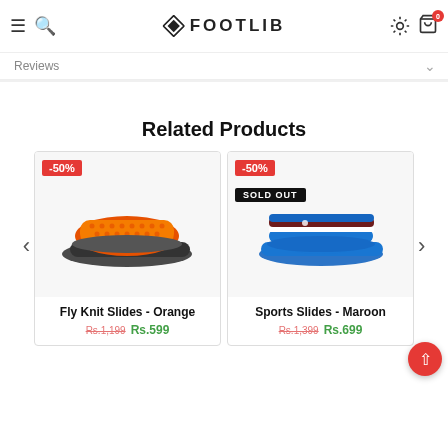FOOTLIB — Navigation header with hamburger menu, search, settings, cart
Reviews
Related Products
[Figure (photo): Orange Fly Knit Slides sandal on dark sole, with -50% discount badge]
Fly Knit Slides - Orange
Rs.1,199 Rs.599
[Figure (photo): Blue/Maroon/White Sports Slides sandal, with -50% discount badge and SOLD OUT label]
Sports Slides - Maroon
Rs.1,399 Rs.699